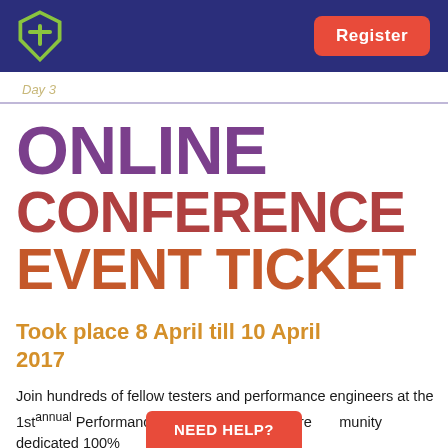Register
Day 3
ONLINE CONFERENCE EVENT TICKET
Took place 8 April till 10 April 2017
Join hundreds of fellow testers and performance engineers at the 1st annual Performance Guild an online conference community dedicated 100% to helping YOU... your performance
NEED HELP?